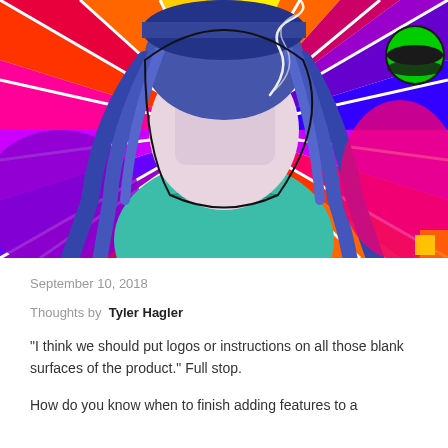[Figure (illustration): Colorful psychedelic illustration of a person with long blue-purple hair wearing a teal sweater, hand raised near face with smoke, against a vivid swirling rainbow background. A green-and-black circular logo appears in the top-right corner.]
September 10, 2018
Thoughts by  Tyler Hagler
"I think we should put logos or instructions on all those blank surfaces of the product." Full stop.
How do you know when to finish adding features to a